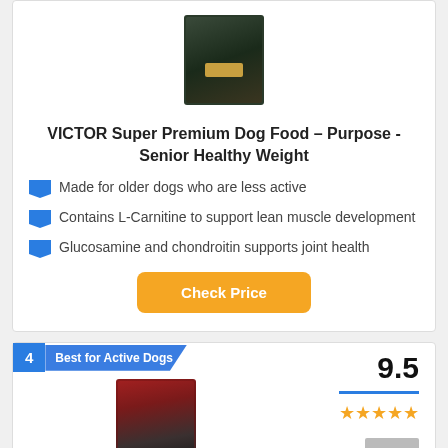[Figure (photo): Product image of VICTOR Super Premium Dog Food - Senior Healthy Weight bag, dark background with gold badge]
VICTOR Super Premium Dog Food – Purpose - Senior Healthy Weight
Made for older dogs who are less active
Contains L-Carnitine to support lean muscle development
Glucosamine and chondroitin supports joint health
Check Price
4 / Best for Active Dogs
9.5
[Figure (photo): Product image of Blue Buffalo dog food bag with wolf on red background]
[Figure (other): Star rating showing approximately 4.5 out of 5 stars]